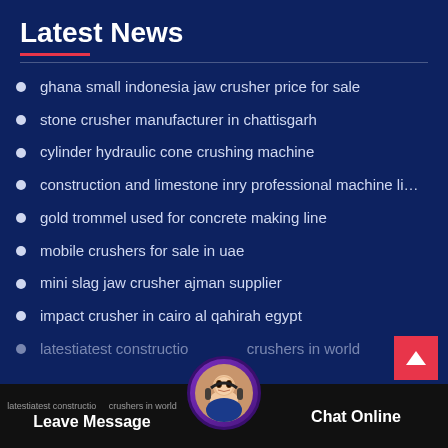Latest News
ghana small indonesia jaw crusher price for sale
stone crusher manufacturer in chattisgarh
cylinder hydraulic cone crushing machine
construction and limestone inry professional machine li…
gold trommel used for concrete making line
mobile crushers for sale in uae
mini slag jaw crusher ajman supplier
impact crusher in cairo al qahirah egypt
latestiatest construction crushers in world
list of the crusher plant location in algiers
Leave Message   Chat Online